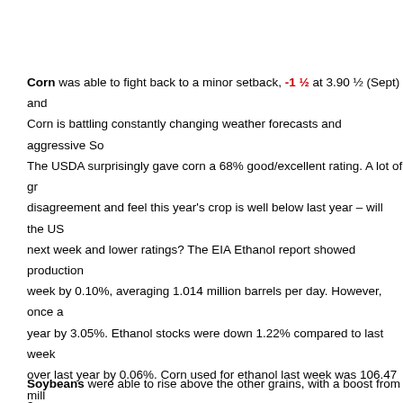Corn was able to fight back to a minor setback, -1 ½ at 3.90 ½ (Sept) and... Corn is battling constantly changing weather forecasts and aggressive So... The USDA surprisingly gave corn a 68% good/excellent rating. A lot of gr... disagreement and feel this year's crop is well below last year – will the US... next week and lower ratings? The EIA Ethanol report showed production... week by 0.10%, averaging 1.014 million barrels per day. However, once a... year by 3.05%. Ethanol stocks were down 1.22% compared to last week... over last year by 0.06%. Corn used for ethanol last week was 106.47 mill... to average 93.423 million bushels for the rest of the year to hit the USDA... bushels. Will WASDE raise the corn used for ethanol by 15-25 million bus... and Argentina may get a shot at some of Europe's import business as the... on Ukraine, who according to analysts is experiencing heat and dryness r... reduction in yield estimates.
Soybeans were able to rise above the other grains, with a boost from a...